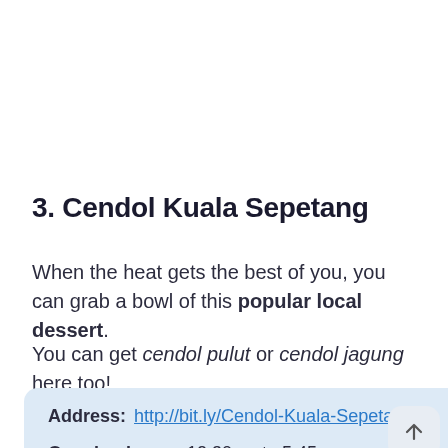3. Cendol Kuala Sepetang
When the heat gets the best of you, you can grab a bowl of this popular local dessert.
You can get cendol pulut or cendol jagung here too!
Address: http://bit.ly/Cendol-Kuala-Sepetang
Opening hours: 12:30pm to 5:45pm everyday but 2:30pm to 5:45pm on Mondays and Fridays